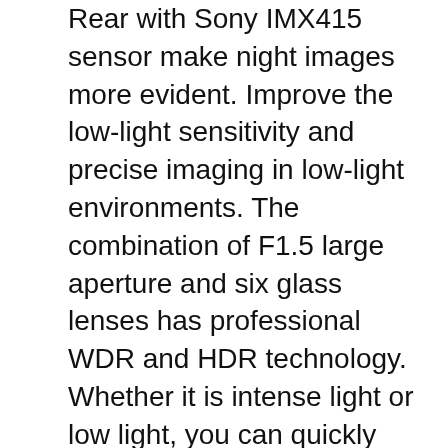Rear with Sony IMX415 sensor make night images more evident. Improve the low-light sensitivity and precise imaging in low-light environments. The combination of F1.5 large aperture and six glass lenses has professional WDR and HDR technology. Whether it is intense light or low light, you can quickly check the car license plate
【Built-in WiFi&GPS】The built-in GPS module enables the car dash camera to record your driving route, driving speed, and other information, which will become your important evidence. The 4K dash cam also has built-in Wi-Fi with an easy connection to your smartphone app. With the "Kacam" app, it's very convenient to operate live preview, playback, and device management on your smartphone. what's more, Video files can be downloaded to